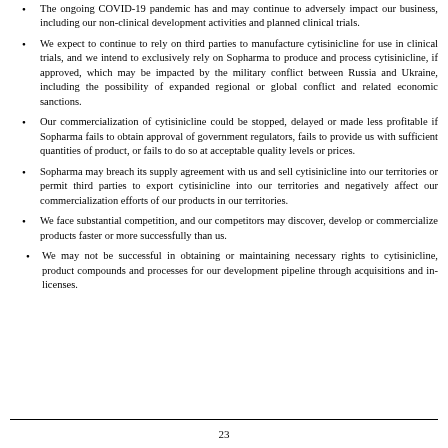The ongoing COVID-19 pandemic has and may continue to adversely impact our business, including our non-clinical development activities and planned clinical trials.
We expect to continue to rely on third parties to manufacture cytisinicline for use in clinical trials, and we intend to exclusively rely on Sopharma to produce and process cytisinicline, if approved, which may be impacted by the military conflict between Russia and Ukraine, including the possibility of expanded regional or global conflict and related economic sanctions.
Our commercialization of cytisinicline could be stopped, delayed or made less profitable if Sopharma fails to obtain approval of government regulators, fails to provide us with sufficient quantities of product, or fails to do so at acceptable quality levels or prices.
Sopharma may breach its supply agreement with us and sell cytisinicline into our territories or permit third parties to export cytisinicline into our territories and negatively affect our commercialization efforts of our products in our territories.
We face substantial competition, and our competitors may discover, develop or commercialize products faster or more successfully than us.
We may not be successful in obtaining or maintaining necessary rights to cytisinicline, product compounds and processes for our development pipeline through acquisitions and in-licenses.
23